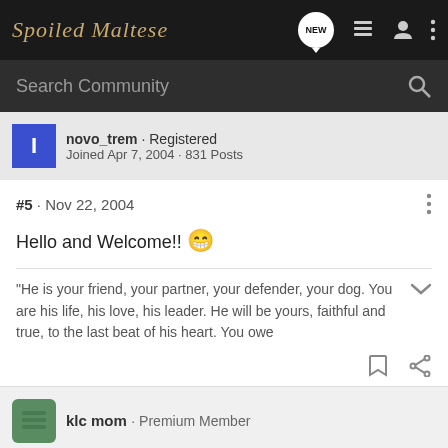Spoiled Maltese
novo_trem · Registered
Joined Apr 7, 2004 · 831 Posts
#5 · Nov 22, 2004
Hello and Welcome!! 😁
"He is your friend, your partner, your defender, your dog. You are his life, his love, his leader. He will be yours, faithful and true, to the last beat of his heart. You owe
klc mom · Premium Member